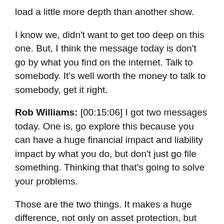load a little more depth than another show.
I know we, didn't want to get too deep on this one. But, I think the message today is don't go by what you find on the internet. Talk to somebody. It's well worth the money to talk to somebody, get it right.
Rob Williams: [00:15:06] I got two messages today. One is, go explore this because you can have a huge financial impact and liability impact by what you do, but don't just go file something. Thinking that that's going to solve your problems.
Those are the two things. It makes a huge difference, not only on asset protection, but on your taxation. So you may be able to more than pay for those attorney and CPA fees, maybe even in the first year. I'm not saying you can, but you may be able to, so that would be a big difference. So it may not cost you as time or something if you look at it at the